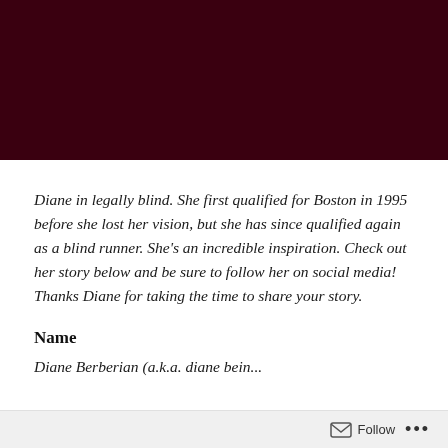[Figure (photo): Dark maroon/burgundy header image band at the top of the page]
Diane in legally blind. She first qualified for Boston in 1995 before she lost her vision, but she has since qualified again as a blind runner. She’s an incredible inspiration. Check out her story below and be sure to follow her on social media! Thanks Diane for taking the time to share your story.
Name
Diane Berberian (a.k.a. diane bein...
Follow